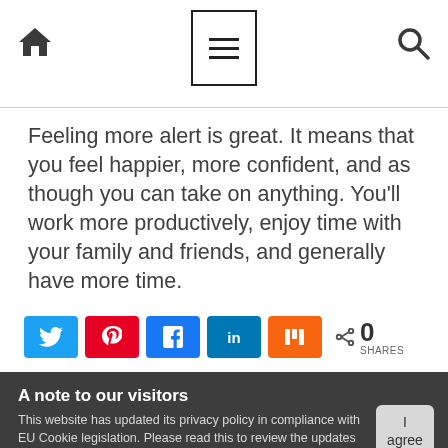Navigation bar with home icon, menu (hamburger) icon, and search icon
Feeling more alert is great. It means that you feel happier, more confident, and as though you can take on anything. You'll work more productively, enjoy time with your family and friends, and generally have more time.
[Figure (infographic): Social share buttons: Twitter (blue), Pinterest (red), Facebook (blue), LinkedIn (dark blue), Mix (orange), and a share count showing 0 SHARES]
A note to our visitors
This website has updated its privacy policy in compliance with EU Cookie legislation. Please read this to review the updates about which cookies we use and what information we collect on our site. By continuing to use this site, you are agreeing to our updated privacy policy. Read More here: